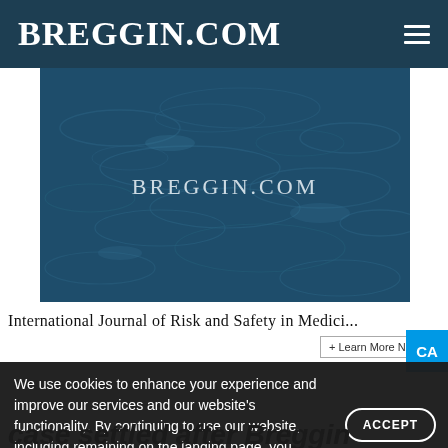BREGGIN.COM
[Figure (photo): Blue water texture background with ripple patterns and BREGGIN.COM text overlay]
International Journal of Risk and Safety in Medici...
+ Learn More N...
We use cookies to enhance your experience and improve our services and our website’s functionality. By continuing to use our website, including remaining on the landing page, you consent to our use of cookies.
ACCEPT
case settled after Breggin testimony